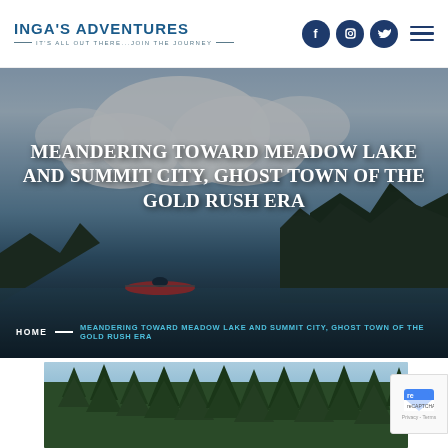INGA'S ADVENTURES — ITS ALL OUT THERE...JOIN THE JOURNEY
[Figure (photo): Hero image of a lake scene with a kayaker in red, mountains covered with dark evergreen trees in the background, and a large sky with white clouds. Overlaid with a dark semi-transparent gradient.]
MEANDERING TOWARD MEADOW LAKE AND SUMMIT CITY, GHOST TOWN OF THE GOLD RUSH ERA
HOME — MEANDERING TOWARD MEADOW LAKE AND SUMMIT CITY, GHOST TOWN OF THE GOLD RUSH ERA
[Figure (photo): Partial bottom photo showing a forest of tall evergreen pine trees against a blue sky, likely at Meadow Lake area.]